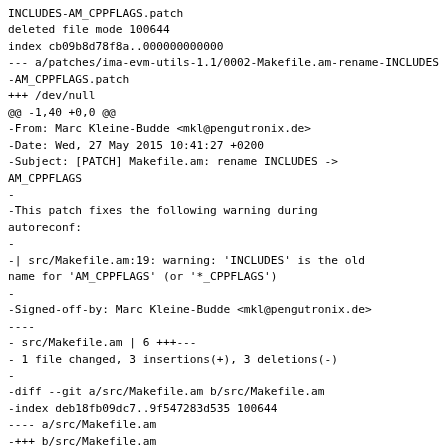INCLUDES-AM_CPPFLAGS.patch
deleted file mode 100644
index cb09b8d78f8a..000000000000
--- a/patches/ima-evm-utils-1.1/0002-Makefile.am-rename-INCLUDES-AM_CPPFLAGS.patch
+++ /dev/null
@@ -1,40 +0,0 @@
-From: Marc Kleine-Budde <mkl@pengutronix.de>
-Date: Wed, 27 May 2015 10:41:27 +0200
-Subject: [PATCH] Makefile.am: rename INCLUDES -> AM_CPPFLAGS
-
-This patch fixes the following warning during autoreconf:
-
-| src/Makefile.am:19: warning: 'INCLUDES' is the old name for 'AM_CPPFLAGS' (or '*_CPPFLAGS')
-
-Signed-off-by: Marc Kleine-Budde <mkl@pengutronix.de>
----
- src/Makefile.am | 6 +++---
- 1 file changed, 3 insertions(+), 3 deletions(-)
-
-diff --git a/src/Makefile.am b/src/Makefile.am
-index deb18fb09dc7..9f547283d535 100644
---- a/src/Makefile.am
-+++ b/src/Makefile.am
-@@ -1,7 +1,7 @@
- lib_LTLIBRARIES = libimaevm.la
-